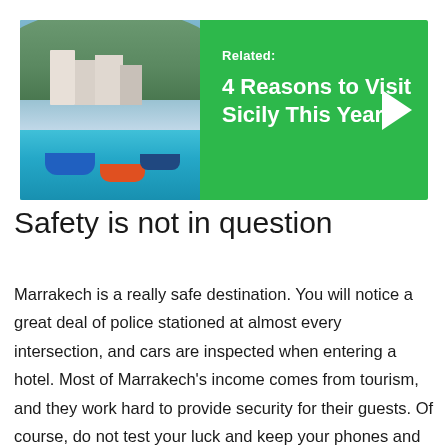[Figure (photo): Photo of Sicily coastline with colorful boats in turquoise water and white buildings on hillside, inside a green related-article banner]
Related: 4 Reasons to Visit Sicily This Year
Safety is not in question
Marrakech is a really safe destination. You will notice a great deal of police stationed at almost every intersection, and cars are inspected when entering a hotel. Most of Marrakech's income comes from tourism, and they work hard to provide security for their guests. Of course, do not test your luck and keep your phones and unattended valuables when you are in Medina, but this is the case in almost every city wherein crowd you could be left without